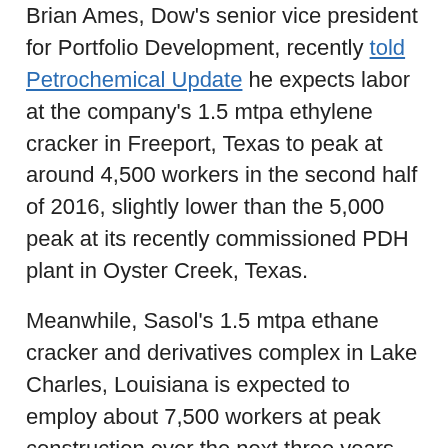Brian Ames, Dow's senior vice president for Portfolio Development, recently told Petrochemical Update he expects labor at the company's 1.5 mtpa ethylene cracker in Freeport, Texas to peak at around 4,500 workers in the second half of 2016, slightly lower than the 5,000 peak at its recently commissioned PDH plant in Oyster Creek, Texas.
Meanwhile, Sasol's 1.5 mtpa ethane cracker and derivatives complex in Lake Charles, Louisiana is expected to employ about 7,500 workers at peak construction over the next three years and generate 400-500 full-time operations and maintenance positions.
USGC cracker labor costs
Most of the labor demand and spending will occur during the projects' construction phase.
Total labor costs, including design, engineering, procurement and construction, vary by project but typically make up about 45-50% of total capital expenses at a world-scale ethane cracker, according to Bergen.